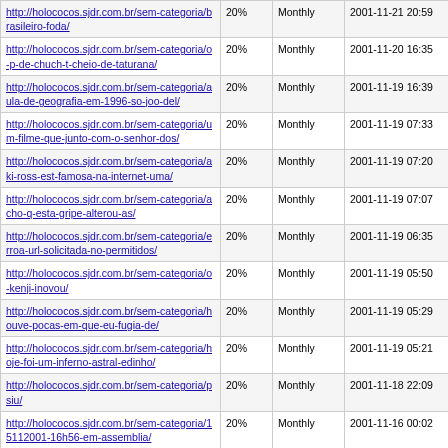| URL | Priority | Change Frequency | Last Modified |
| --- | --- | --- | --- |
| http://holococos.sjdr.com.br/sem-categoria/brasileiro-foda/ | 20% | Monthly | 2001-11-21 20:59 |
| http://holococos.sjdr.com.br/sem-categoria/o-p-de-chuch-t-cheio-de-taturana/ | 20% | Monthly | 2001-11-20 16:35 |
| http://holococos.sjdr.com.br/sem-categoria/aula-de-geografia-em-1996-so-joo-del/ | 20% | Monthly | 2001-11-19 16:39 |
| http://holococos.sjdr.com.br/sem-categoria/um-filme-que-junto-com-o-senhor-dos/ | 20% | Monthly | 2001-11-19 07:33 |
| http://holococos.sjdr.com.br/sem-categoria/aki-ross-est-famosa-na-internet-uma/ | 20% | Monthly | 2001-11-19 07:20 |
| http://holococos.sjdr.com.br/sem-categoria/acho-q-esta-gripe-alterou-as/ | 20% | Monthly | 2001-11-19 07:07 |
| http://holococos.sjdr.com.br/sem-categoria/erroa-url-solicitada-no-permitidos/ | 20% | Monthly | 2001-11-19 06:35 |
| http://holococos.sjdr.com.br/sem-categoria/o-kenji-inovou/ | 20% | Monthly | 2001-11-19 05:50 |
| http://holococos.sjdr.com.br/sem-categoria/houve-pocas-em-que-eu-fugia-de/ | 20% | Monthly | 2001-11-19 05:29 |
| http://holococos.sjdr.com.br/sem-categoria/hoje-foi-um-inferno-astral-edinho/ | 20% | Monthly | 2001-11-19 05:21 |
| http://holococos.sjdr.com.br/sem-categoria/psiu/ | 20% | Monthly | 2001-11-18 22:09 |
| http://holococos.sjdr.com.br/sem-categoria/15112001-16h56-em-assemblia/ | 20% | Monthly | 2001-11-16 00:02 |
| http://holococos.sjdr.com.br/sem-categoria/ontem-fui-numa-festa- | 20% | Monthly | 2001-11-15 23:50 |